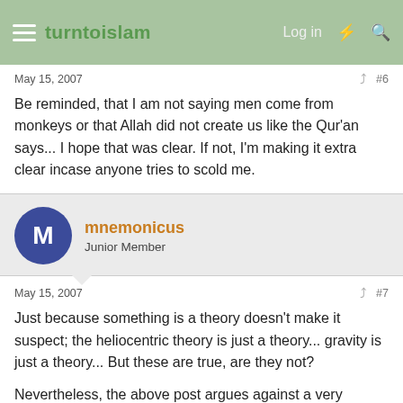turntoislam — Log in
May 15, 2007  #6
Be reminded, that I am not saying men come from monkeys or that Allah did not create us like the Qur'an says... I hope that was clear. If not, I'm making it extra clear incase anyone tries to scold me.
mnemonicus
Junior Member
May 15, 2007  #7
Just because something is a theory doesn't make it suspect; the heliocentric theory is just a theory... gravity is just a theory... But these are true, are they not?
Nevertheless, the above post argues against a very particular theory. A theory which is loaded with enlightenment thought and athiesm. The idea that creatures adapt to their environments